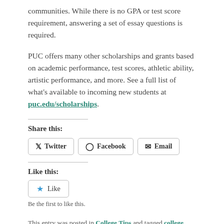communities. While there is no GPA or test score requirement, answering a set of essay questions is required.
PUC offers many other scholarships and grants based on academic performance, test scores, athletic ability, artistic performance, and more. See a full list of what's available to incoming new students at puc.edu/scholarships.
Share this:
Twitter  Facebook  Email
Like this:
Like
Be the first to like this.
This entry was posted in College Tips and tagged college, college financial aid, college scholarships, Pacific Union